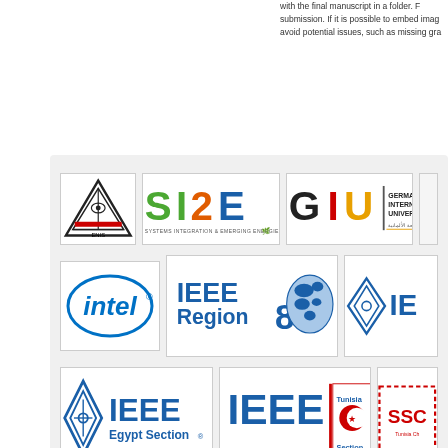with the final manuscript in a folder. submission. If it is possible to embed images, avoid potential issues, such as missing graphics.
[Figure (logo): Sponsor logos: ENIS, SIZE (Systems Integration & Emerging Energies), GIU (German International University), Intel, IEEE Region 8, IEEE (partial), IEEE Egypt Section, IEEE Tunisia Section, SSC Tunisia Chapter (partial)]